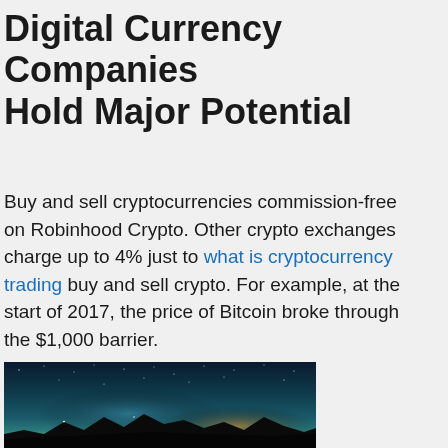Digital Currency Companies Hold Major Potential
Buy and sell cryptocurrencies commission-free on Robinhood Crypto. Other crypto exchanges charge up to 4% just to what is cryptocurrency trading buy and sell crypto. For example, at the start of 2017, the price of Bitcoin broke through the $1,000 barrier.
[Figure (photo): Night sky photo showing the Milky Way over a mountain silhouette with a gradient from dark teal to warm orange-yellow near the horizon]